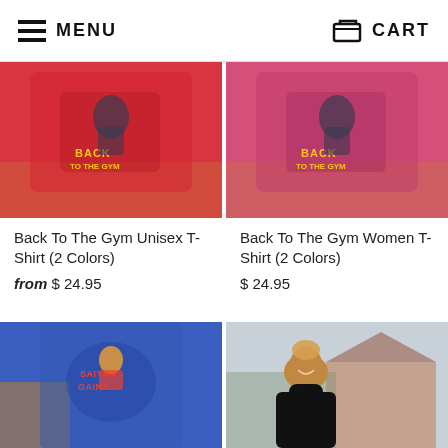MENU   CART
[Figure (photo): Red t-shirt with 'Back To The Gym' graphic design lying on wooden floor]
[Figure (photo): Pink t-shirt with 'Back To The Gym' graphic design lying on wooden floor]
Back To The Gym Unisex T-Shirt (2 Colors)
from $ 24.95
Back To The Gym Women T-Shirt (2 Colors)
$ 24.95
[Figure (photo): Blue t-shirt with 'Saiyain Gainz' or similar graphic design with Power Rangers-style character]
[Figure (photo): Woman with short hair wearing black long-sleeve top, smiling outdoors in front of house]